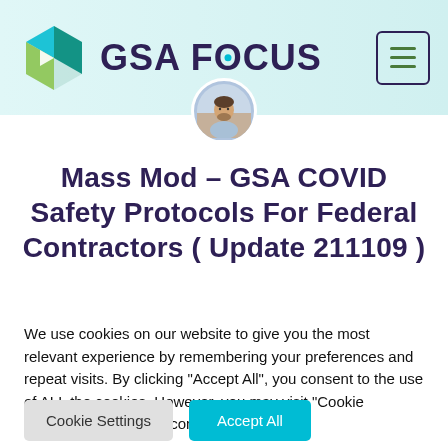GSA FOCUS
[Figure (logo): GSA Focus logo with hexagon icon and text 'GSA FOCUS']
[Figure (photo): Circular avatar photo of a bearded man in a light blue shirt]
Mass Mod – GSA COVID Safety Protocols For Federal Contractors ( Update 211109 )
We use cookies on our website to give you the most relevant experience by remembering your preferences and repeat visits. By clicking "Accept All", you consent to the use of ALL the cookies. However, you may visit "Cookie Settings" to provide a controlled consent.
Cookie Settings  Accept All